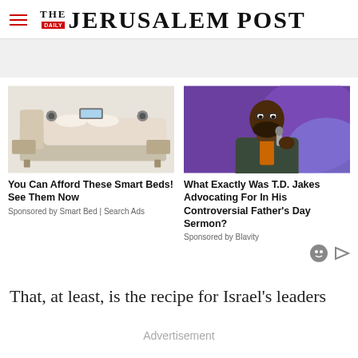THE JERUSALEM POST
[Figure (photo): Smart bed with speakers, drawers and reclining features on white background]
You Can Afford These Smart Beds! See Them Now
Sponsored by Smart Bed | Search Ads
[Figure (photo): T.D. Jakes speaking on stage with microphone, purple lighting background]
What Exactly Was T.D. Jakes Advocating For In His Controversial Father's Day Sermon?
Sponsored by Blavity
That, at least, is the recipe for Israel's leaders
Advertisement